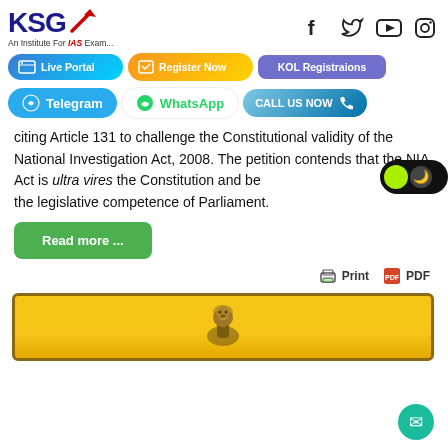[Figure (logo): KSG IAS institute logo with red arrow and tagline 'An Institute For IAS Exam...']
[Figure (infographic): Social media icons: Facebook, Twitter, YouTube, Instagram]
[Figure (infographic): Navigation buttons: Live Portal, Register Now, KOL Registraions]
[Figure (infographic): Telegram, WhatsApp, and CALL US NOW buttons]
citing Article 131 to challenge the Constitutional validity of the National Investigation Act, 2008. The petition contends that the NIA Act is ultra vires the Constitution and beyond the legislative competence of Parliament.
[Figure (infographic): Dark/light mode toggle button]
Read more ...
Print  PDF
[Figure (photo): Gold background with Ashoka Lion Capital emblem]